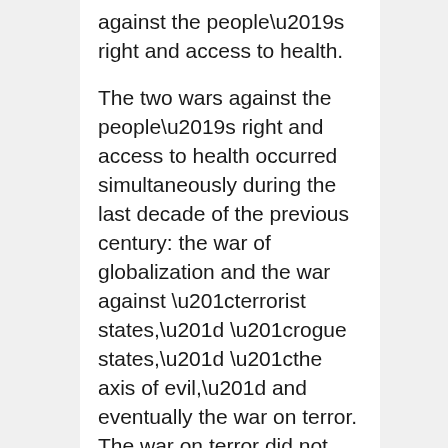against the people's right and access to health.
The two wars against the people's right and access to health occurred simultaneously during the last decade of the previous century: the war of globalization and the war against “terrorist states,” “rogue states,” “the axis of evil,” and eventually the war on terror. The war on terror did not begin with the World Trade Center attacks in